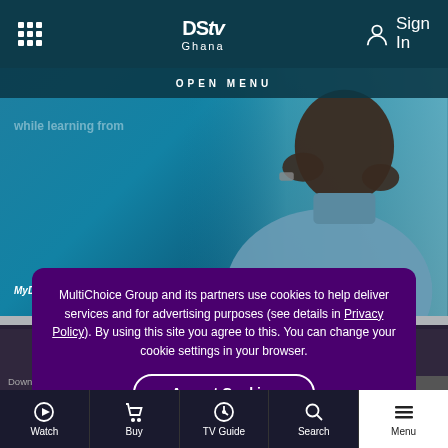DStv Ghana – Navigation bar with grid icon, DStv Ghana logo, Sign In button
OPEN MENU
[Figure (screenshot): DStv Ghana hero banner showing a person looking at a phone, with MyDStv App badges for Google Play and App Store]
MultiChoice Group and its partners use cookies to help deliver services and for advertising purposes (see details in Privacy Policy). By using this site you agree to this. You can change your cookie settings in your browser.
Accept Cookies
Download To Your Phone
Lifetime Access. Expert Instructors.
Learning that
Watch  Buy  TV Guide  Search  Menu